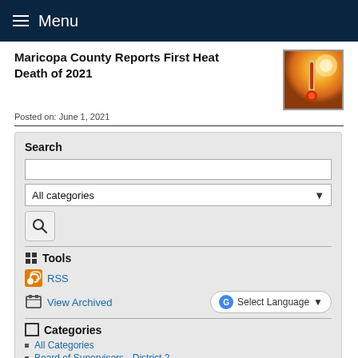Menu
Maricopa County Reports First Heat Death of 2021
Posted on: June 1, 2021
[Figure (photo): Thermometer in bright sunlight, orange/golden tones]
Search
Tools
RSS
View Archived
Categories
All Categories
Board of Supervisors - District 2